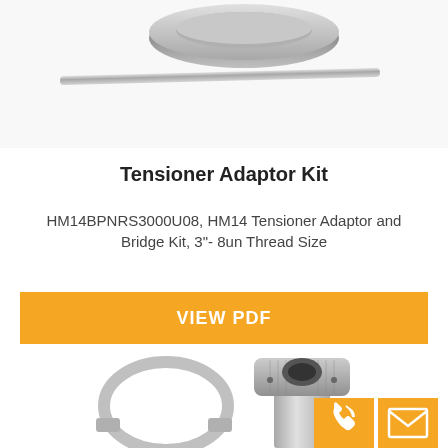[Figure (photo): Top portion of a product photo showing a cylindrical ring/collar piece and a metal rod/pin, partially cropped at top of page]
Tensioner Adaptor Kit
HM14BPNRS3000U08, HM14 Tensioner Adaptor and Bridge Kit, 3"- 8un Thread Size
[Figure (other): Orange button with text VIEW PDF]
[Figure (photo): Bottom portion showing a tensioner adaptor kit with a cylindrical adaptor piece and a bracket ring, partially cropped. Two orange icon buttons: phone and email.]